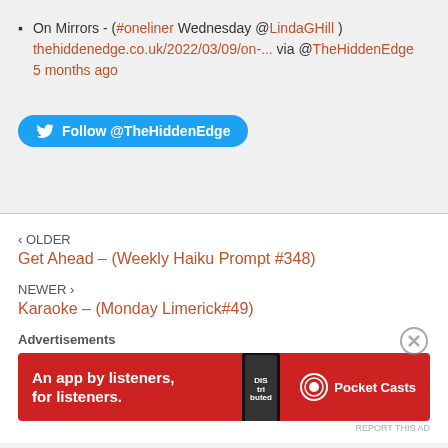On Mirrors - (#oneliner Wednesday @LindaGHill ) thehiddenedge.co.uk/2022/03/09/on-... via @TheHiddenEdge 5 months ago
[Figure (other): Twitter Follow button: Follow @TheHiddenEdge]
‹ OLDER
Get Ahead – (Weekly Haiku Prompt #348)
NEWER ›
Karaoke – (Monday Limerick#49)
Advertisements
[Figure (other): Pocket Casts advertisement banner: An app by listeners, for listeners.]